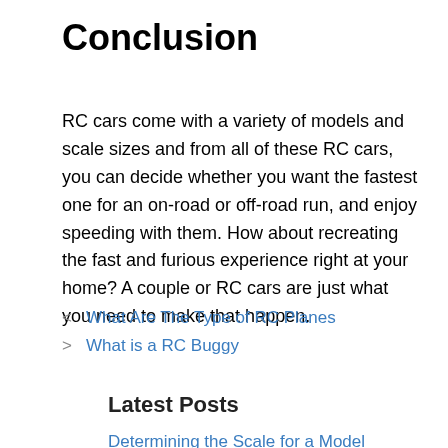Conclusion
RC cars come with a variety of models and scale sizes and from all of these RC cars, you can decide whether you want the fastest one for an on-road or off-road run, and enjoy speeding with them. How about recreating the fast and furious experience right at your home? A couple or RC cars are just what you need to make that happen.
< What Are The Type of RC Planes
> What is a RC Buggy
Latest Posts
Determining the Scale for a Model